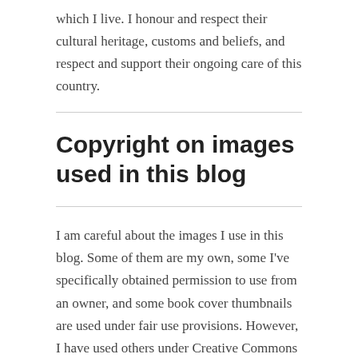which I live. I honour and respect their cultural heritage, customs and beliefs, and respect and support their ongoing care of this country.
Copyright on images used in this blog
I am careful about the images I use in this blog. Some of them are my own, some I've specifically obtained permission to use from an owner, and some book cover thumbnails are used under fair use provisions. However, I have used others under Creative Commons (and similar licences) when the owners have indicated on